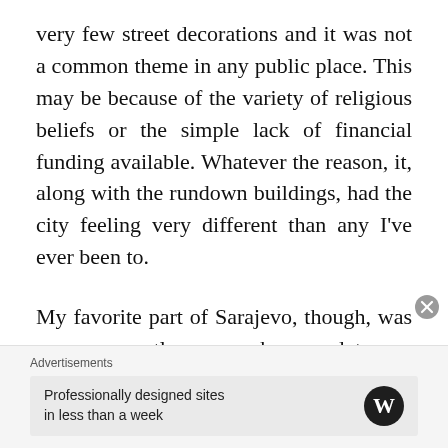very few street decorations and it was not a common theme in any public place. This may be because of the variety of religious beliefs or the simple lack of financial funding available. Whatever the reason, it, along with the rundown buildings, had the city feeling very different than any I've ever been to.
My favorite part of Sarajevo, though, was a young gentleman we happened to run into as we were strolling the streets, right after we had breakfast. He had made a comment in Bosnian and pointed to Tony's hat with a smile. Tony said, “See that! He
Advertisements
Professionally designed sites in less than a week